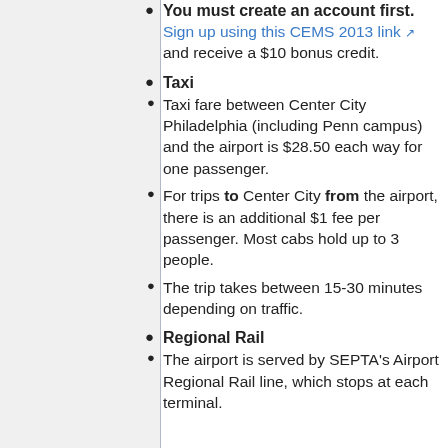You must create an account first. Sign up using this CEMS 2013 link and receive a $10 bonus credit.
Taxi
Taxi fare between Center City Philadelphia (including Penn campus) and the airport is $28.50 each way for one passenger.
For trips to Center City from the airport, there is an additional $1 fee per passenger. Most cabs hold up to 3 people.
The trip takes between 15-30 minutes depending on traffic.
Regional Rail
The airport is served by SEPTA's Airport Regional Rail line, which stops at each terminal.